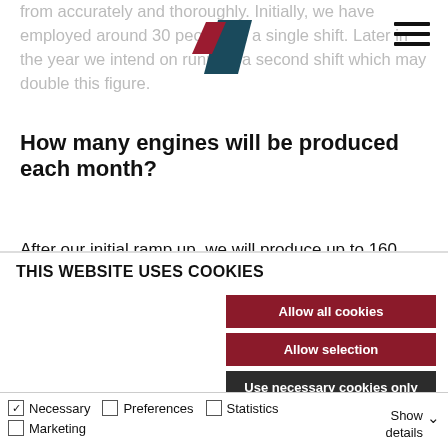from accurately and thoroughly. Initially, we have employed around 30 people on a single shift. Later in the year we intend on running a second shift which may double this figure.
[Figure (logo): Company logo with red and dark teal diagonal parallelogram shapes]
How many engines will be produced each month?
After our initial ramp up, we will produce up to 160 outboards per month. Later in the year we will increase that to around 240 outboards per month. At first we will...
THIS WEBSITE USES COOKIES
Allow all cookies
Allow selection
Use necessary cookies only
Necessary
Marketing
Preferences
Statistics
Show details